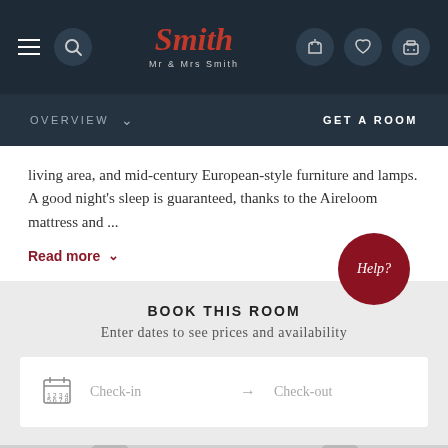[Figure (screenshot): Mr & Mrs Smith website top navigation bar with hamburger menu, search icon, logo, phone, heart, and luggage icons on dark navy background]
OVERVIEW   GET A ROOM
living area, and mid-century European-style furniture and lamps. A good night's sleep is guaranteed, thanks to the Aireloom mattress and ...
Read more
BOOK THIS ROOM
Enter dates to see prices and availability
Check-in → Check-out
[Figure (photo): Partial view of a decorative image at the bottom of the page, appearing to show a room or interior element in grayscale]